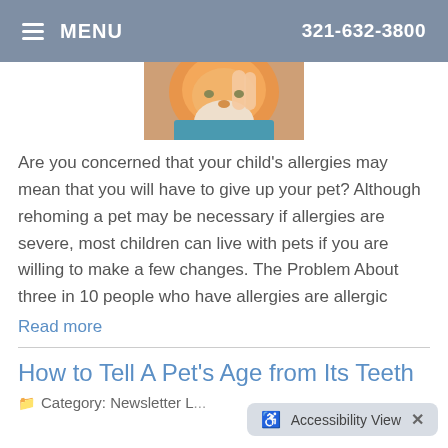MENU  321-632-3800
[Figure (photo): Close-up photo of an orange/ginger cat being scratched, partially cropped at top of page]
Are you concerned that your child's allergies may mean that you will have to give up your pet? Although rehoming a pet may be necessary if allergies are severe, most children can live with pets if you are willing to make a few changes. The Problem About three in 10 people who have allergies are allergic
Read more
How to Tell A Pet's Age from Its Teeth
Category: Newsletter L...